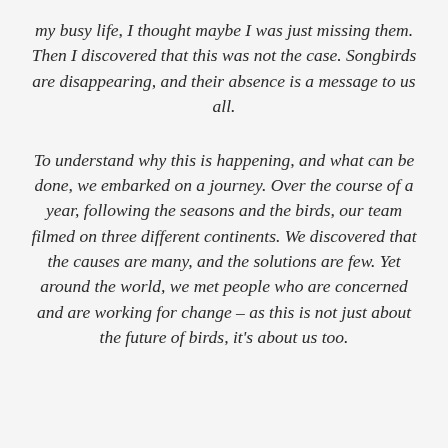my busy life, I thought maybe I was just missing them. Then I discovered that this was not the case. Songbirds are disappearing, and their absence is a message to us all.
To understand why this is happening, and what can be done, we embarked on a journey. Over the course of a year, following the seasons and the birds, our team filmed on three different continents. We discovered that the causes are many, and the solutions are few. Yet around the world, we met people who are concerned and are working for change – as this is not just about the future of birds, it's about us too.